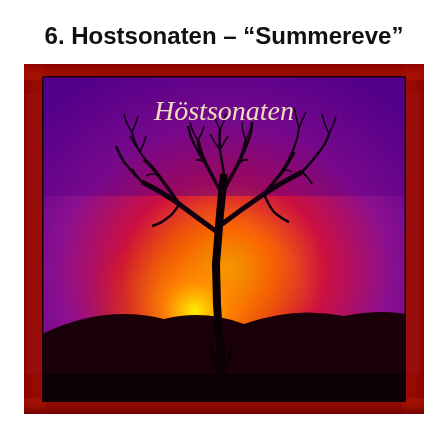6. Hostsonaten – "Summereve"
[Figure (illustration): Album cover for Höstsonaten showing a bare tree silhouette against a vivid red, purple, orange and yellow sunset sky, with the word 'Höstsonaten' in italic script at the top. The image has a red textured border frame.]